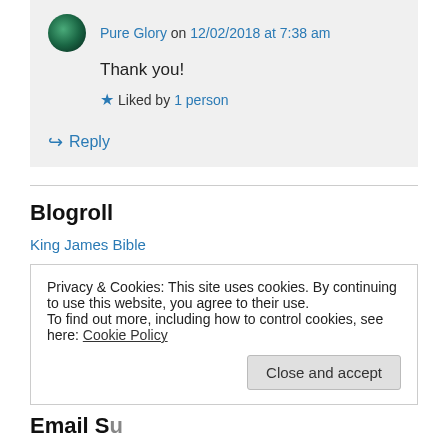Pure Glory on 12/02/2018 at 7:38 am
Thank you!
Liked by 1 person
↳ Reply
Blogroll
King James Bible
Privacy & Cookies: This site uses cookies. By continuing to use this website, you agree to their use.
To find out more, including how to control cookies, see here: Cookie Policy
Close and accept
Email Subscription